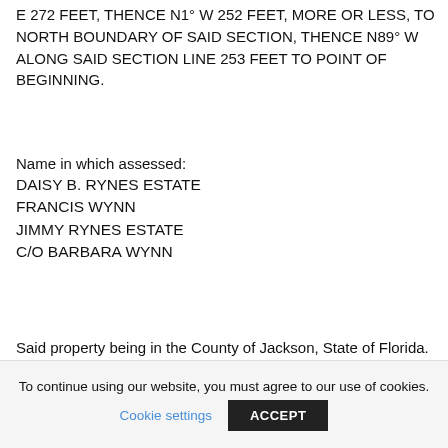E 272 FEET, THENCE N1° W 252 FEET, MORE OR LESS, TO NORTH BOUNDARY OF SAID SECTION, THENCE N89° W ALONG SAID SECTION LINE 253 FEET TO POINT OF BEGINNING.
Name in which assessed:
DAISY B. RYNES ESTATE
FRANCIS WYNN
JIMMY RYNES ESTATE
C/O BARBARA WYNN
Said property being in the County of Jackson, State of Florida. Unless such certificate shall be redeemed according to law the property described in such certificate shall be sold to the
To continue using our website, you must agree to our use of cookies. Cookie settings ACCEPT